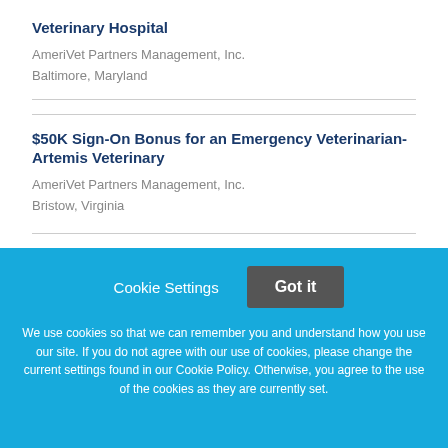Veterinary Hospital
AmeriVet Partners Management, Inc.
Baltimore, Maryland
$50K Sign-On Bonus for an Emergency Veterinarian-Artemis Veterinary
AmeriVet Partners Management, Inc.
Bristow, Virginia
Cookie Settings   Got it
We use cookies so that we can remember you and understand how you use our site. If you do not agree with our use of cookies, please change the current settings found in our Cookie Policy. Otherwise, you agree to the use of the cookies as they are currently set.